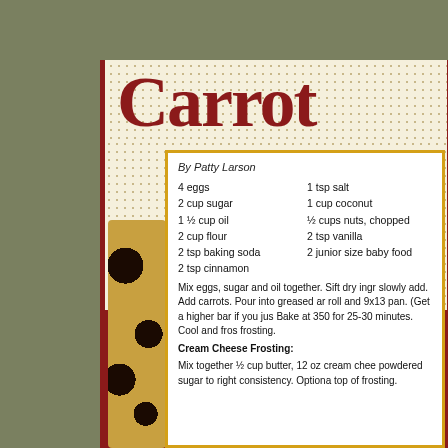Carrot [Cake]
By Patty Larson
4 eggs
2 cup sugar
1 ½ cup oil
2 cup flour
2 tsp baking soda
2 tsp cinnamon
1 tsp salt
1 cup coconut
½ cups nuts, chopped
2 tsp vanilla
2 junior size baby food
Mix eggs, sugar and oil together. Sift dry ingr slowly add. Add carrots. Pour into greased ar roll and 9x13 pan. (Get a higher bar if you jus Bake at 350 for 25-30 minutes. Cool and fros frosting.
Cream Cheese Frosting:
Mix together ½ cup butter, 12 oz cream chee powdered sugar to right consistency. Optiona top of frosting.